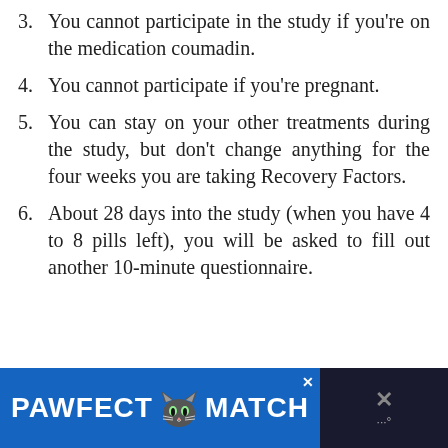3. You cannot participate in the study if you're on the medication coumadin.
4. You cannot participate if you're pregnant.
5. You can stay on your other treatments during the study, but don't change anything for the four weeks you are taking Recovery Factors.
6. About 28 days into the study (when you have 4 to 8 pills left), you will be asked to fill out another 10-minute questionnaire.
[Figure (other): Advertisement banner for PAWFECT MATCH with a cat logo on a blue background]